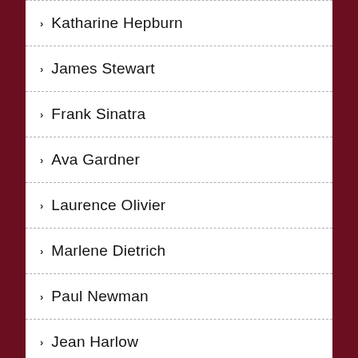Katharine Hepburn
James Stewart
Frank Sinatra
Ava Gardner
Laurence Olivier
Marlene Dietrich
Paul Newman
Jean Harlow
Doris Day
Lucille Ball
Audrey Hepburn